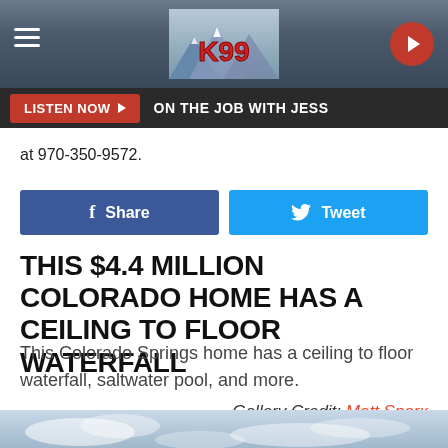[Figure (screenshot): K99 radio station top navigation bar with hamburger menu, K99 logo, and play button on dark blue/grey background]
LISTEN NOW ▶  ON THE JOB WITH JESS
at 970-350-9572.
[Figure (other): Facebook Share button and Twitter Tweet button]
THIS $4.4 MILLION COLORADO HOME HAS A CEILING TO FLOOR WATERFALL
This Colorado Springs home has a ceiling to floor waterfall, saltwater pool, and more.
Gallery Credit: Matt Sparx
[Figure (photo): Sky with clouds, bottom strip of page]